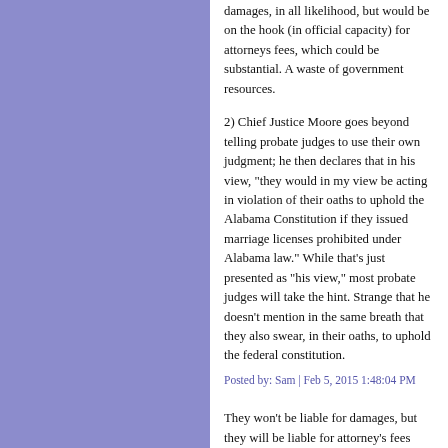damages, in all likelihood, but would be on the hook (in official capacity) for attorneys fees, which could be substantial. A waste of government resources.
2) Chief Justice Moore goes beyond telling probate judges to use their own judgment; he then declares that in his view, "they would in my view be acting in violation of their oaths to uphold the Alabama Constitution if they issued marriage licenses prohibited under Alabama law." While that's just presented as "his view," most probate judges will take the hint. Strange that he doesn't mention in the same breath that they also swear, in their oaths, to uphold the federal constitution.
Posted by: Sam | Feb 5, 2015 1:48:04 PM
They won't be liable for damages, but they will be liable for attorney's fees because the plaintiff is a prevailing party (of course, the state will pay those fees).